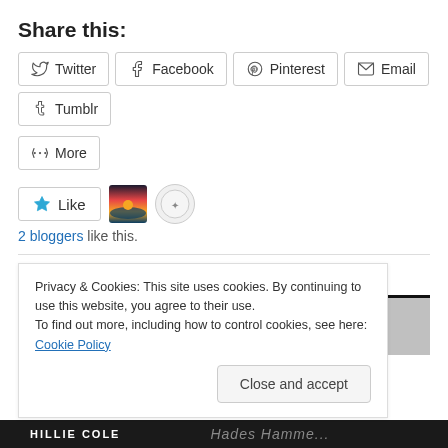Share this:
Twitter  Facebook  Pinterest  Email  Tumblr
More
Like
2 bloggers like this.
Related
[Figure (screenshot): Related article image block showing a book cover with red and gray tones, partially visible text]
Privacy & Cookies: This site uses cookies. By continuing to use this website, you agree to their use.
To find out more, including how to control cookies, see here: Cookie Policy
Close and accept